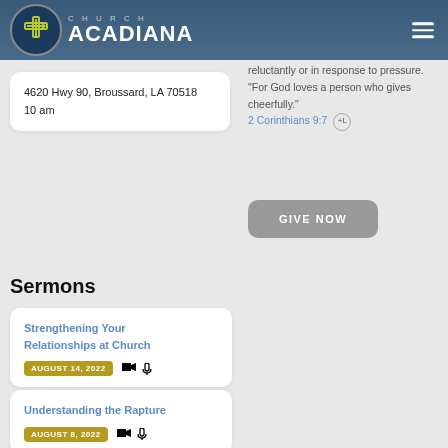CHURCH ACADIANA
4620 Hwy 90, Broussard, LA 70518
10 am
reluctantly or in response to pressure. "For God loves a person who gives cheerfully." 2 Corinthians 9:7
GIVE NOW
Sermons
Strengthening Your Relationships at Church
AUGUST 14, 2022
Understanding the Rapture
AUGUST 8, 2022